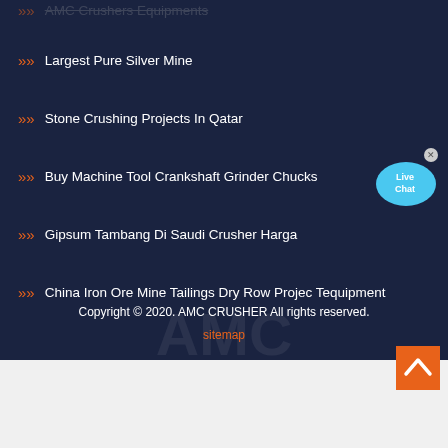AMC Crushers Equipments
Largest Pure Silver Mine
Stone Crushing Projects In Qatar
Buy Machine Tool Crankshaft Grinder Chucks
Gipsum Tambang Di Saudi Crusher Harga
China Iron Ore Mine Tailings Dry Row Projec Tequipment
Copyright © 2020. AMC CRUSHER All rights reserved.
sitemap